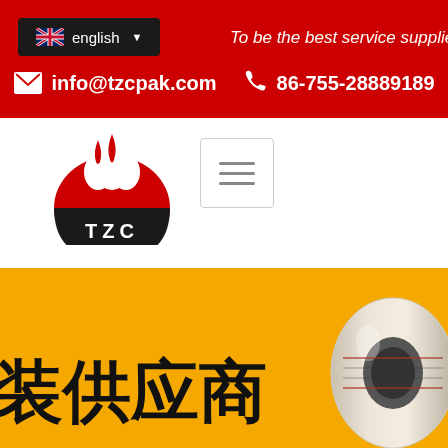english | To be the best service supplier
info@tzcpak.com  86-755-28889189
[Figure (logo): TZC company logo with red and black flame design and text 'TZC' below]
[Figure (other): Hamburger menu icon in a light grey bordered box]
装供应商
[Figure (photo): Roll of packaging film/tape product on yellow background]